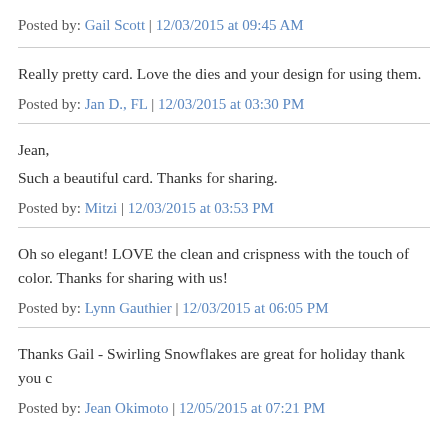Posted by: Gail Scott | 12/03/2015 at 09:45 AM
Really pretty card. Love the dies and your design for using them.
Posted by: Jan D., FL | 12/03/2015 at 03:30 PM
Jean,
Such a beautiful card. Thanks for sharing.
Posted by: Mitzi | 12/03/2015 at 03:53 PM
Oh so elegant! LOVE the clean and crispness with the touch of color. Thanks for sharing with us!
Posted by: Lynn Gauthier | 12/03/2015 at 06:05 PM
Thanks Gail - Swirling Snowflakes are great for holiday thank you c
Posted by: Jean Okimoto | 12/05/2015 at 07:21 PM